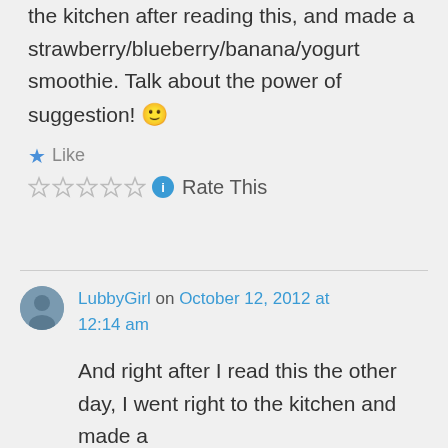the kitchen after reading this, and made a strawberry/blueberry/banana/yogurt smoothie. Talk about the power of suggestion! 🙂
★ Like
☆☆☆☆☆ ℹ Rate This
LubbyGirl on October 12, 2012 at 12:14 am
And right after I read this the other day, I went right to the kitchen and made a strawberry/banana/blueberry/yogurt